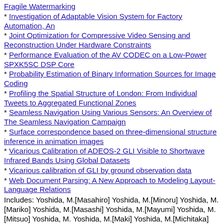Fragile Watermarking
* Investigation of Adaptable Vision System for Factory Automation, An
* Joint Optimization for Compressive Video Sensing and Reconstruction Under Hardware Constraints
* Performance Evaluation of the AV CODEC on a Low-Power SPXK5SC DSP Core
* Probability Estimation of Binary Information Sources for Image Coding
* Profiling the Spatial Structure of London: From Individual Tweets to Aggregated Functional Zones
* Seamless Navigation Using Various Sensors: An Overview of The Seamless Navigation Campaign
* Surface correspondence based on three-dimensional structure inference in animation images
* Vicarious Calibration of ADEOS-2 GLI Visible to Shortwave Infrared Bands Using Global Datasets
* Vicarious calibration of GLI by ground observation data
* Web Document Parsing: A New Approach to Modeling Layout-Language Relations
Includes: Yoshida, M.[Masahiro] Yoshida, M.[Minoru] Yoshida, M.[Mariko] Yoshida, M.[Masashi] Yoshida, M.[Mayumi] Yoshida, M.[Mitsuo] Yoshida, M. Yoshida, M.[Maki] Yoshida, M.[Michitaka] Yoshida, M.[Makoto] Yoshida, M.[Masayuki]